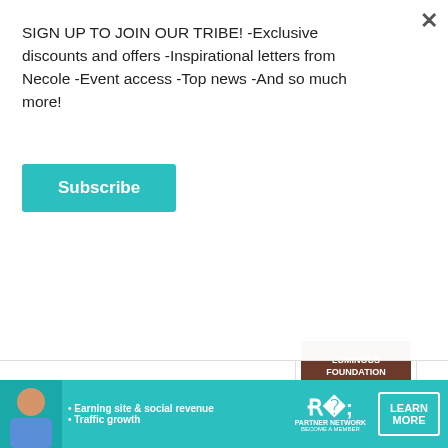SIGN UP TO JOIN OUR TRIBE! -Exclusive discounts and offers -Inspirational letters from Necole -Event access -Top news -And so much more!
Subscribe
[Figure (photo): Partial view of Anastasia Beverly Hills Luminous Foundation product box showing brown color and text LUMINOUS FOUNDATION FOND DE TEINT LUMINEUSE]
Ulta Beauty
The Anastasia Beverly Hills Luminous Foundation is a first-time steal during the 21 Days Of Beauty event. This foundation formula is lightweight, offers medium coverage, and has a shade range of over 50
[Figure (infographic): SHE Partner Network advertisement banner in teal color featuring a woman and bullet points: Earning site & social revenue, Traffic growth, with LEARN MORE button]